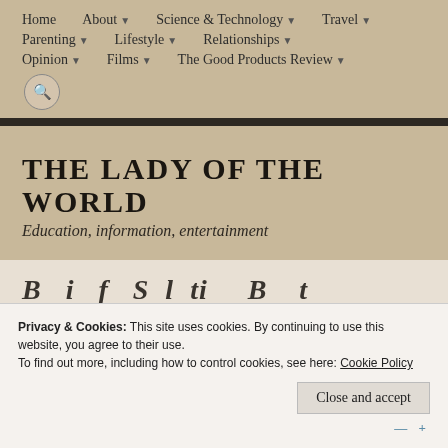Home  About ▾  Science & Technology ▾  Travel ▾  Parenting ▾  Lifestyle ▾  Relationships ▾  Opinion ▾  Films ▾  The Good Products Review ▾
THE LADY OF THE WORLD
Education, information, entertainment
Privacy & Cookies: This site uses cookies. By continuing to use this website, you agree to their use.
To find out more, including how to control cookies, see here: Cookie Policy
Close and accept